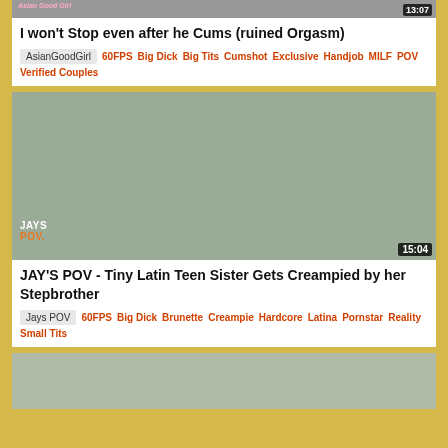[Figure (screenshot): Partial video thumbnail at top, cropped, with timestamp 13:07]
I won't Stop even after he Cums (ruined Orgasm)
AsianGoodGirl  60FPS  Big Dick  Big Tits  Cumshot  Exclusive  Handjob  MILF  POV  Verified Couples
[Figure (screenshot): Video thumbnail showing bathroom scene, with JAYS POV branding and timestamp 15:04]
JAY'S POV - Tiny Latin Teen Sister Gets Creampied by her Stepbrother
Jays POV  60FPS  Big Dick  Brunette  Creampie  Hardcore  Latina  Pornstar  Reality  Small Tits
[Figure (screenshot): Partial video thumbnail at bottom, cropped]